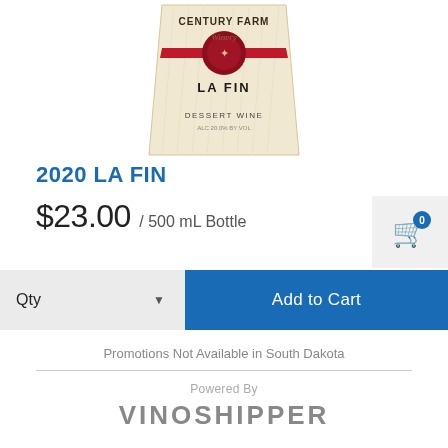[Figure (photo): Wine bottle label for Century Farm Winery La Fin Dessert Wine 2020, showing the bottle label with a cream/beige background, red wax seal, and text: CENTURY FARM Winery, LA FIN, DESSERT WINE, ALC 20.0% BY VOL]
2020 LA FIN
$23.00 / 500 mL Bottle
Qty  Add to Cart
Promotions Not Available in South Dakota
Powered By
VINOSHIPPER